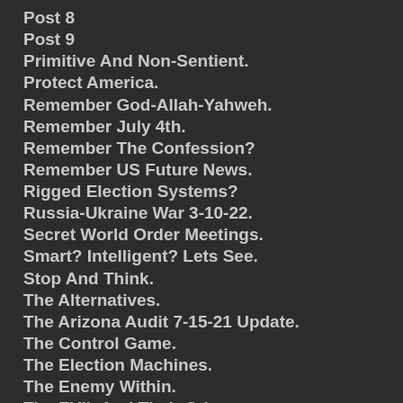Post 8
Post 9
Primitive And Non-Sentient.
Protect America.
Remember God-Allah-Yahweh.
Remember July 4th.
Remember The Confession?
Remember US Future News.
Rigged Election Systems?
Russia-Ukraine War 3-10-22.
Secret World Order Meetings.
Smart? Intelligent? Lets See.
Stop And Think.
The Alternatives.
The Arizona Audit 7-15-21 Update.
The Control Game.
The Election Machines.
The Enemy Within.
The EVIL And Their Crimes.
The EVIL Are Brainwashing.
The EVIL Control US.
The EVIL Lie.
The Fake President.